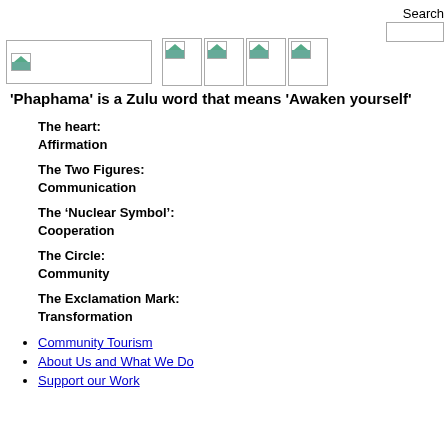Search [logo] [nav icons]
'Phaphama' is a Zulu word that means 'Awaken yourself'
The heart:
Affirmation
The Two Figures:
Communication
The 'Nuclear Symbol':
Cooperation
The Circle:
Community
The Exclamation Mark:
Transformation
Community Tourism
About Us and What We Do
Support our Work